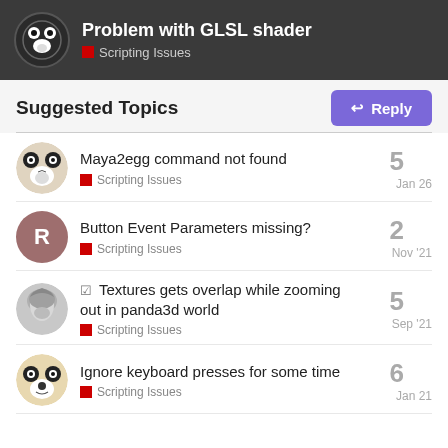Problem with GLSL shader — Scripting Issues
Suggested Topics
Maya2egg command not found — Scripting Issues — Jan 26 — 5 replies
Button Event Parameters missing? — Scripting Issues — Nov '21 — 2 replies
Textures gets overlap while zooming out in panda3d world — Scripting Issues — Sep '21 — 5 replies
Ignore keyboard presses for some time — Scripting Issues — Jan 21 — 6 replies